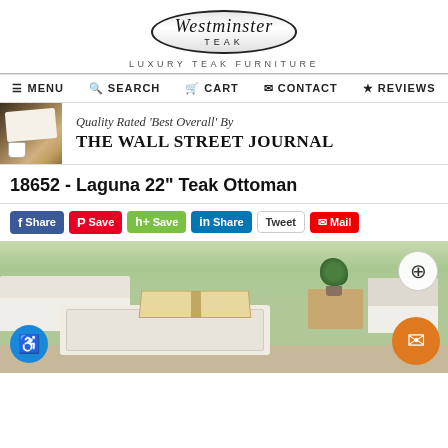[Figure (logo): Westminster Teak logo — oval badge with serif italic 'Westminster' and 'TEAK' text, with tagline 'LUXURY TEAK FURNITURE']
≡ MENU   🔍 SEARCH   🛒 CART   ✉ CONTACT   ★ REVIEWS
[Figure (infographic): Banner showing newspaper image on left, text: Quality Rated 'Best Overall' By THE WALL STREET JOURNAL]
18652 - Laguna 22" Teak Ottoman
Share Save Save Share Tweet Mail (social share buttons: Facebook, Pinterest, Houzz, LinkedIn, Twitter, Mail)
[Figure (photo): Product photo of Laguna 22-inch Teak Ottoman with cream cushion, open magazine on top, teak furniture in background including sofa and chairs. Zoom button and accessibility icon overlay visible.]